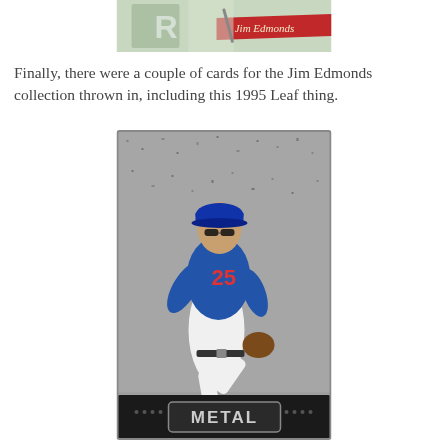[Figure (photo): Top portion of a baseball card showing Jim Edmonds name on a red banner with green and white design elements]
Finally, there were a couple of cards for the Jim Edmonds collection thrown in, including this 1995 Leaf thing.
[Figure (photo): 1995 Leaf Metal baseball card featuring Jim Edmonds wearing number 25 in blue Angels uniform, running/fielding against a gray speckled background, with METAL logo at bottom]